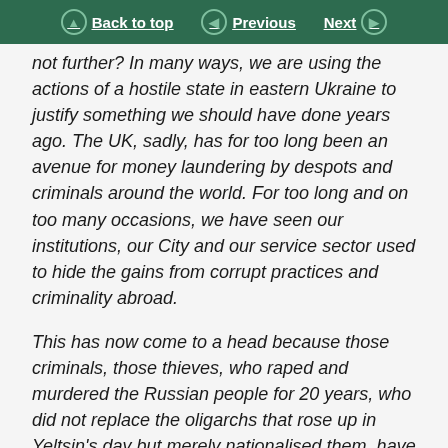Back to top | Previous | Next
not further? In many ways, we are using the actions of a hostile state in eastern Ukraine to justify something we should have done years ago. The UK, sadly, has for too long been an avenue for money laundering by despots and criminals around the world. For too long and on too many occasions, we have seen our institutions, our City and our service sector used to hide the gains from corrupt practices and criminality abroad.
This has now come to a head because those criminals, those thieves, who raped and murdered the Russian people for 20 years, who did not replace the oligarchs that rose up in Yeltsin's day but merely nationalised them, have been using those same vehicles and avenues to hide the profits of their